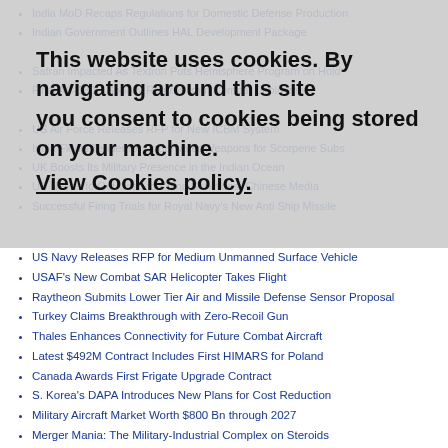India MoD Recaps Regulations for Domestic Defense Production
Indian Government Outlines HAL Development Package
Safran Impacted As Textron Puts Hemisphere Program on Hold
Final AC-130U Spooky Returns from Combat Deployment
US Air Force Releases RFP for New ICBM System
India Floats Tender for Underwater Weapons for Scorpene Subs
UK Boosts Its Military Presence in the Indian Ocean
US Needs to Get Used to China Sanctions: Chinese Media
Successful Firing Trials for Royal Navy's New Anti Ship Missile
This website uses cookies. By navigating around this site you consent to cookies being stored on your machine. View Cookies policy.
US Navy Releases RFP for Medium Unmanned Surface Vehicle
USAF's New Combat SAR Helicopter Takes Flight
Raytheon Submits Lower Tier Air and Missile Defense Sensor Proposal
Turkey Claims Breakthrough with Zero-Recoil Gun
Thales Enhances Connectivity for Future Combat Aircraft
Latest $492M Contract Includes First HIMARS for Poland
Canada Awards First Frigate Upgrade Contract
S. Korea's DAPA Introduces New Plans for Cost Reduction
Military Aircraft Market Worth $800 Bn through 2027
Merger Mania: The Military-Industrial Complex on Steroids
Multinational MRTT Tanker Pool Inaugurated
Belgium Chooses Thales for CaMo Next-Gen Armored Vehicles
DGA Takes Delivery of 'Normandie,' Sixth Multi-Mission Frigate
Qatar Says French Missile Found in Italy Was Sold to Third Country
Esper Would Continue Emphasis on Readiness, Partnerships, Reform
Northrop Awarded $274M Contract by NASA